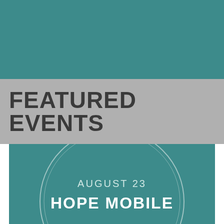[Figure (illustration): Teal/dark cyan colored rectangular banner at the top of the page]
FEATURED EVENTS
[Figure (infographic): Teal event card with two concentric circle outlines, date 'AUGUST 23' and title 'HOPE MOBILE' centered inside the circles]